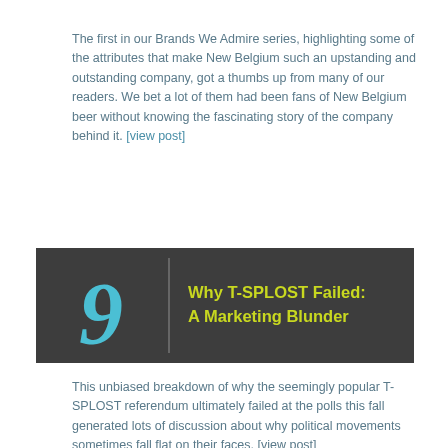The first in our Brands We Admire series, highlighting some of the attributes that make New Belgium such an upstanding and outstanding company, got a thumbs up from many of our readers. We bet a lot of them had been fans of New Belgium beer without knowing the fascinating story of the company behind it. [view post]
[Figure (infographic): Dark banner with number 9 in blue italic on left side, and yellow-green bold text reading 'Why T-SPLOST Failed: A Marketing Blunder' on right side]
This unbiased breakdown of why the seemingly popular T-SPLOST referendum ultimately failed at the polls this fall generated lots of discussion about why political movements sometimes fall flat on their faces. [view post]